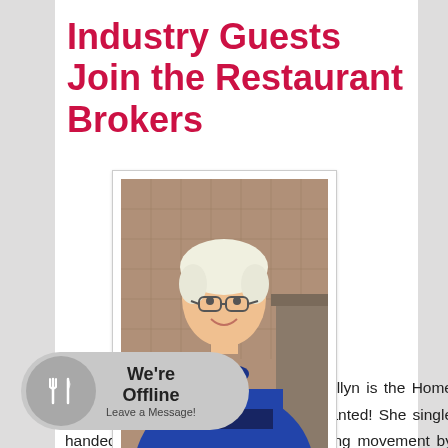Industry Guests Join the Restaurant Brokers
[Figure (photo): Portrait photo of Emily Ellyn, a woman with short white-blonde hair and glasses, wearing a blue top, smiling at the camera. Photo is in a polaroid-style frame.]
Emily Ellyn
[Figure (other): We're Offline chat widget with circular icon showing fork and knife, text reads 'We're Offline - Leave a Message!']
Chef and  Ellyn is the Home Ec have always wanted! She single handedly started the Retro Rad cooking movement by encouraging everyone to dig